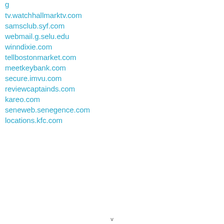tv.watchhallmarktv.com
samsclub.syf.com
webmail.g.selu.edu
winndixie.com
tellbostonmarket.com
meetkeybank.com
secure.imvu.com
reviewcaptainds.com
kareo.com
seneweb.senegence.com
locations.kfc.com
v